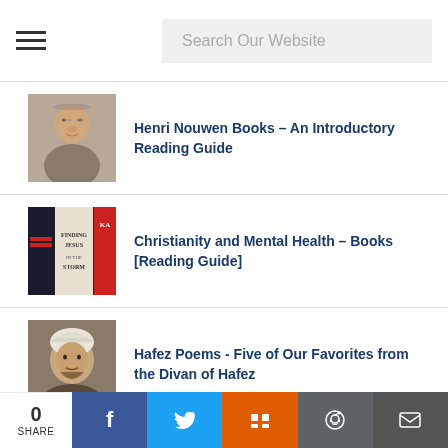Search Our Website
[Figure (photo): Portrait photo of Henri Nouwen, an older man with glasses]
Henri Nouwen Books – An Introductory Reading Guide
[Figure (photo): Book covers including 'Finding Jesus in the Storm']
Christianity and Mental Health – Books [Reading Guide]
[Figure (photo): Portrait painting of Hafez, a man in a white turban]
Hafez Poems - Five of Our Favorites from the Divan of Hafez
[Figure (photo): Partially visible image at bottom of page]
0 SHARE | Facebook | Twitter | Mix | Reddit | Email